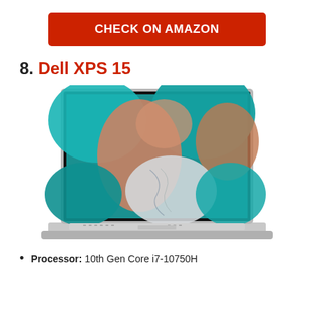CHECK ON AMAZON
8. Dell XPS 15
[Figure (photo): Dell XPS 15 laptop with colorful abstract teal, orange, and marble wallpaper displayed on screen, silver aluminum chassis, front-facing view open on a white background]
Processor: 10th Gen Core i7-10750H